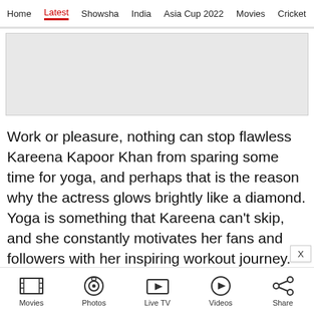Home  Latest  Showsha  India  Asia Cup 2022  Movies  Cricket
[Figure (other): Advertisement placeholder banner, light gray background]
Work or pleasure, nothing can stop flawless Kareena Kapoor Khan from sparing some time for yoga, and perhaps that is the reason why the actress glows brightly like a diamond. Yoga is something that Kareena can't skip, and she constantly motivates her fans and followers with her inspiring workout journey. The Laal Singh Chaddha actress avidly takes it to social media
Movies  Photos  Live TV  Videos  Share